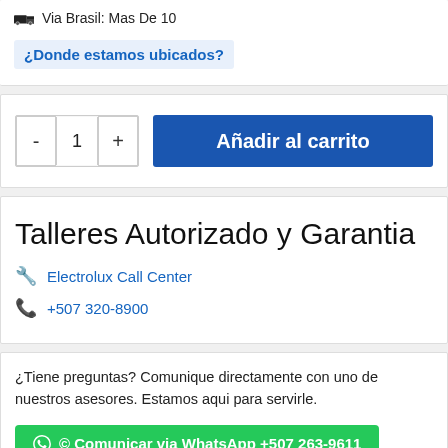Via Brasil: Mas De 10
¿Donde estamos ubicados?
- 1 +   Añadir al carrito
Talleres Autorizado y Garantia
Electrolux Call Center
+507 320-8900
¿Tiene preguntas? Comunique directamente con uno de nuestros asesores. Estamos aqui para servirle.
© Comunicar via WhatsApp +507 263-9611
Spend your clothes with lots of technology. Innovative 'Safety